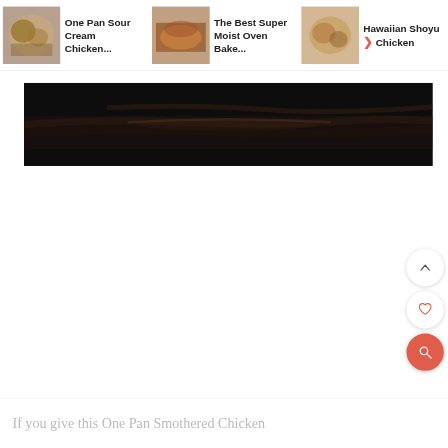[Figure (screenshot): Website screenshot showing a horizontal recipe carousel at top with three recipe cards: 'One Pan Sour Cream Chicken...', 'The Best Super Moist Oven Bake...', and 'Hawaiian Shoyu Chicken' with a right arrow. Below is a dark food photograph. Floating action buttons on right: up arrow, heart, and red search/magnify button. At the bottom, light gray text begins 'If you give this One Pan Smothered Chicken']
One Pan Sour Cream Chicken...
The Best Super Moist Oven Bake...
Hawaiian Shoyu Chicken
If you give this One Pan Smothered Chicken